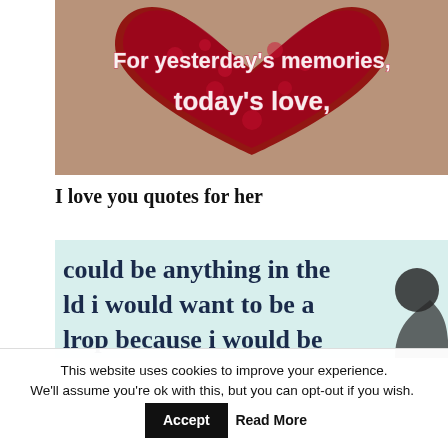[Figure (photo): A heart made of red roses/flowers with text overlay reading 'For yesterday's memories, today's love,']
I love you quotes for her
[Figure (photo): A light blue/mint background image with dark blue serif text reading 'could be anything in the ld i would want to be a lrop because i would be' and a silhouette of a person on the right side]
This website uses cookies to improve your experience. We'll assume you're ok with this, but you can opt-out if you wish. Accept Read More